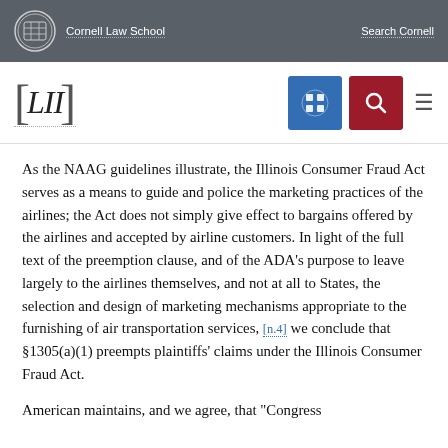Cornell Law School   Search Cornell
[Figure (logo): LII (Legal Information Institute) Cornell Law School navigation header with logo, grid icon, search icon, and hamburger menu]
As the NAAG guidelines illustrate, the Illinois Consumer Fraud Act serves as a means to guide and police the marketing practices of the airlines; the Act does not simply give effect to bargains offered by the airlines and accepted by airline customers. In light of the full text of the preemption clause, and of the ADA's purpose to leave largely to the airlines themselves, and not at all to States, the selection and design of marketing mechanisms appropriate to the furnishing of air transportation services, [n.4] we conclude that §1305(a)(1) preempts plaintiffs' claims under the Illinois Consumer Fraud Act.
American maintains, and we agree, that "Congress